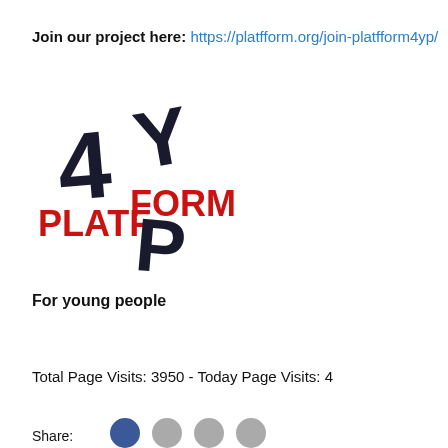Join our project here: https://platfform.org/join-platfform4yp/
[Figure (logo): PLATFFORM 4YP logo with stylized letters 4, Y, P and red FORM text]
For young people
Total Page Visits: 3950 - Today Page Visits: 4
Share: